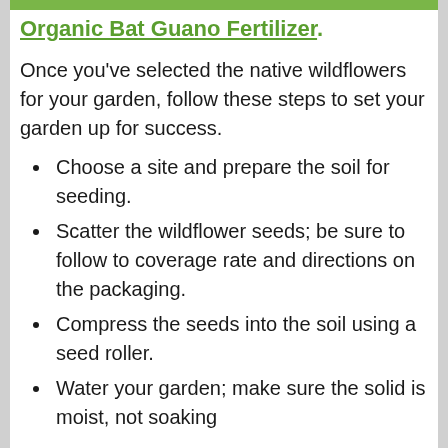Organic Bat Guano Fertilizer.
Once you’ve selected the native wildflowers for your garden, follow these steps to set your garden up for success.
Choose a site and prepare the soil for seeding.
Scatter the wildflower seeds; be sure to follow to coverage rate and directions on the packaging.
Compress the seeds into the soil using a seed roller.
Water your garden; make sure the solid is moist, not soaking